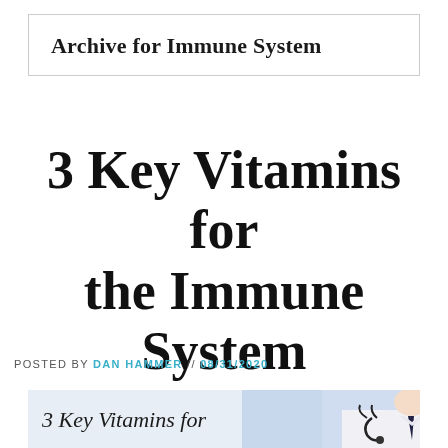Archive for Immune System
3 Key Vitamins for the Immune System
POSTED BY DAN HAMMER // 08/31/2020
[Figure (photo): Image showing text '3 Key Vitamins for' overlaid on photo of a doctor in white coat with stethoscope]